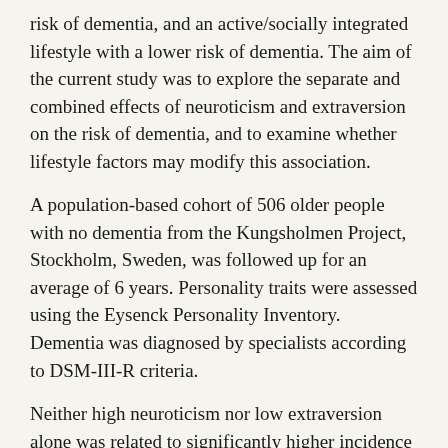risk of dementia, and an active/socially integrated lifestyle with a lower risk of dementia. The aim of the current study was to explore the separate and combined effects of neuroticism and extraversion on the risk of dementia, and to examine whether lifestyle factors may modify this association.
A population-based cohort of 506 older people with no dementia from the Kungsholmen Project, Stockholm, Sweden, was followed up for an average of 6 years. Personality traits were assessed using the Eysenck Personality Inventory. Dementia was diagnosed by specialists according to DSM-III-R criteria.
Neither high neuroticism nor low extraversion alone was related to significantly higher incidence of dementia. However, among people with an inactive or socially isolated lifestyle, low neuroticism was associated with a decreased dementia risk (hazard ratio [HR] = 0.51, 95% confidence interval [CI] = 0.27-